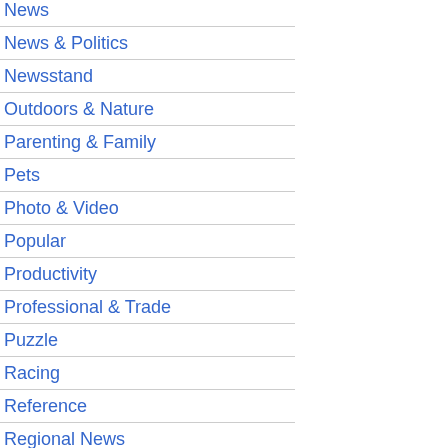News
News & Politics
Newsstand
Outdoors & Nature
Parenting & Family
Pets
Photo & Video
Popular
Productivity
Professional & Trade
Puzzle
Racing
Reference
Regional News
Role Playing
[Figure (screenshot): Broken image placeholder for first app (partial, top)]
Разрабо
[Figure (screenshot): Broken image placeholder for Cats app]
Cats
View tho decide t for your
Petsie C Разрабо
[Figure (screenshot): Broken image placeholder for Selloby app]
Selloby
Selloby
Selloby поиска н знакомо Разрабо
[Figure (screenshot): Broken image placeholder for LinkedIn app]
Linked
Get on-t
• Find a • Stay u Суце